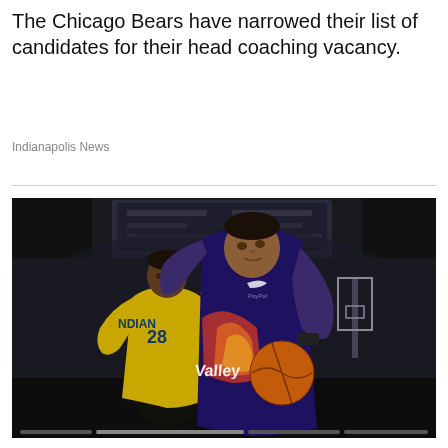The Chicago Bears have narrowed their list of candidates for their head coaching vacancy.
Indianapolis News
[Figure (photo): Basketball game photo showing a Phoenix Suns player in purple 'Valley' jersey holding the ball and looking up, with an Indiana Pacers player (#28) in yellow jersey defending from behind. Arena crowd visible in background.]